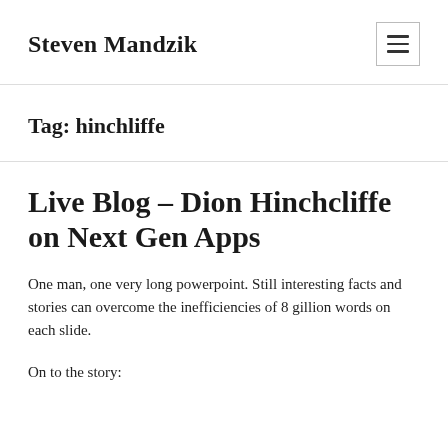Steven Mandzik
Tag: hinchliffe
Live Blog – Dion Hinchcliffe on Next Gen Apps
One man, one very long powerpoint. Still interesting facts and stories can overcome the inefficiencies of 8 gillion words on each slide.
On to the story: